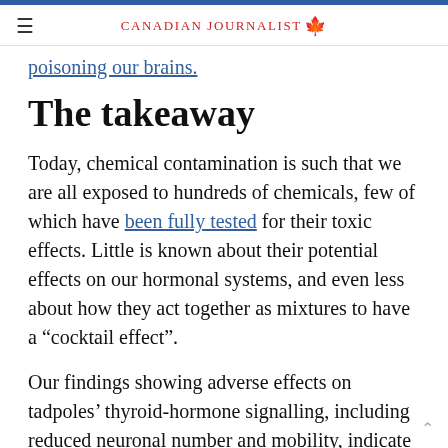Canadian Journalist
poisoning our brains.
The takeaway
Today, chemical contamination is such that we are all exposed to hundreds of chemicals, few of which have been fully tested for their toxic effects. Little is known about their potential effects on our hormonal systems, and even less about how they act together as mixtures to have a “cocktail effect”.
Our findings showing adverse effects on tadpoles’ thyroid-hormone signalling, including reduced neuronal number and mobility, indicate the urgent need to revisit the way chemicals are tested bef…